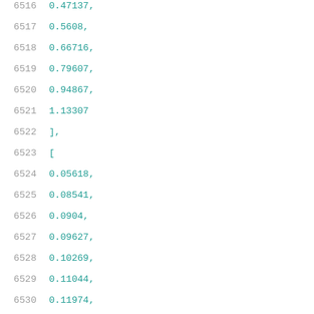6516    0.47137,
6517    0.5608,
6518    0.66716,
6519    0.79607,
6520    0.94867,
6521    1.13307
6522    ],
6523    [
6524    0.05618,
6525    0.08541,
6526    0.0904,
6527    0.09627,
6528    0.10269,
6529    0.11044,
6530    0.11974,
6531    0.13133,
6532    0.14562,
6533    0.1634,
6534    0.18493,
6535    0.21181,
6536    0.2455,
6537    0.28581,